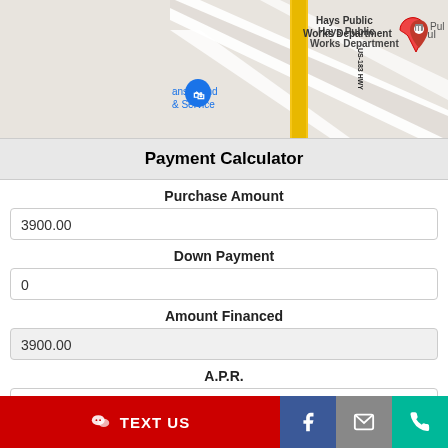[Figure (map): Google Maps screenshot showing Hays Public Works Department, US-183 Hwy yellow road marker, Kansasland & Service location pin, with roads and terrain in gray and white]
Payment Calculator
Purchase Amount
3900.00
Down Payment
0
Amount Financed
3900.00
A.P.R.
6.500%